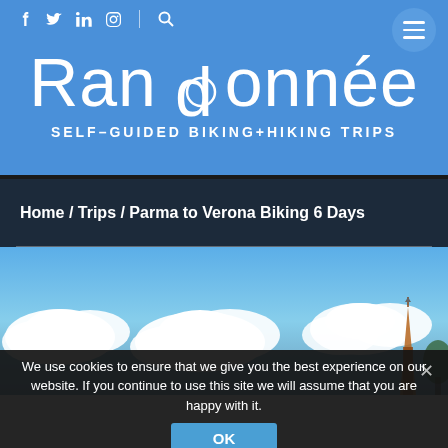Randonnée SELF-GUIDED BIKING+HIKING TRIPS
Home / Trips / Parma to Verona Biking 6 Days
[Figure (photo): Blue sky with white clouds and church spire in background]
We use cookies to ensure that we give you the best experience on our website. If you continue to use this site we will assume that you are happy with it.